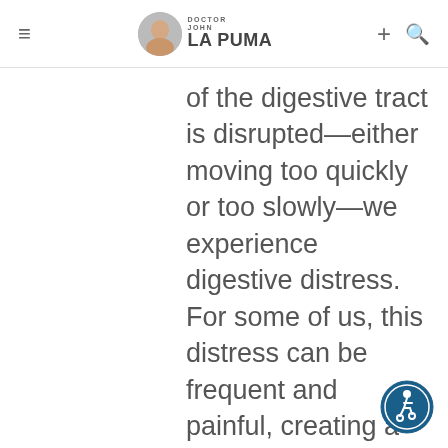Doctor John La Puma
of the digestive tract is disrupted—either moving too quickly or too slowly—we experience digestive distress. For some of us, this distress can be frequent and painful, creating a major disruption in our life and in our lifestyle. Several health conditions [...]